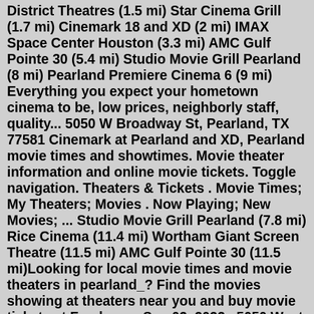District Theatres (1.5 mi) Star Cinema Grill (1.7 mi) Cinemark 18 and XD (2 mi) IMAX Space Center Houston (3.3 mi) AMC Gulf Pointe 30 (5.4 mi) Studio Movie Grill Pearland (8 mi) Pearland Premiere Cinema 6 (9 mi) Everything you expect your hometown cinema to be, low prices, neighborly staff, quality... 5050 W Broadway St, Pearland, TX 77581 Cinemark at Pearland and XD, Pearland movie times and showtimes. Movie theater information and online movie tickets. Toggle navigation. Theaters & Tickets . Movie Times; My Theaters; Movies . Now Playing; New Movies; ... Studio Movie Grill Pearland (7.8 mi) Rice Cinema (11.4 mi) Wortham Giant Screen Theatre (11.5 mi) AMC Gulf Pointe 30 (11.5 mi)Looking for local movie times and movie theaters in pearland_? Find the movies showing at theaters near you and buy movie tickets at Fandango. Sep 02, 2022 · 5050 West Broadway Suite 10. Pearland, TX 77581. Box Office: (281) 997-2828. 3311 Silverlake Village Drive , Pearland TX 77581 | (713) 436-9065. 15 movies playing at this theater today. August 28. Sort